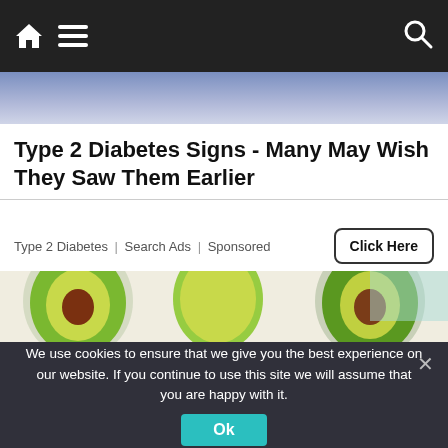Navigation bar with home icon, menu icon, and search icon
Type 2 Diabetes Signs - Many May Wish They Saw Them Earlier
Type 2 Diabetes | Search Ads | Sponsored
Click Here
[Figure (photo): Avocados cut in halves and slices arranged on a light background — one half showing a dark-red seed, sliced avocado fans, and another half with a brown pit, plus partial avocados at the bottom edge]
We use cookies to ensure that we give you the best experience on our website. If you continue to use this site we will assume that you are happy with it.
Ok